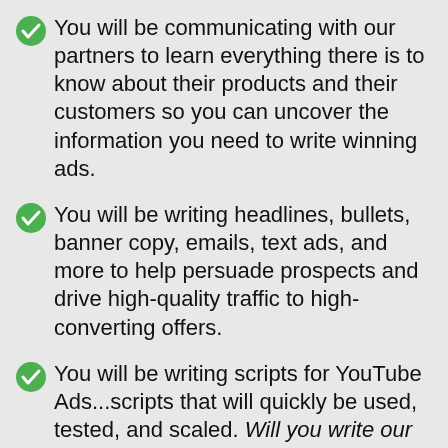You will be communicating with our partners to learn everything there is to know about their products and their customers so you can uncover the information you need to write winning ads.
You will be writing headlines, bullets, banner copy, emails, text ads, and more to help persuade prospects and drive high-quality traffic to high-converting offers.
You will be writing scripts for YouTube Ads...scripts that will quickly be used, tested, and scaled. Will you write our next million-dollar YouTube Ad?
You will be following AdLeg's proven